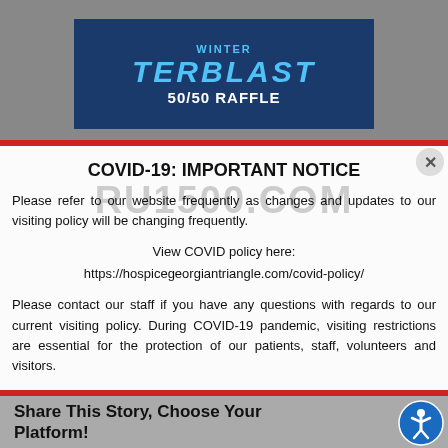[Figure (other): Top banner showing 'WINTER TerBLAST 50/50 RAFFLE' on dark blue background, partially visible behind modal overlay]
COVID-19: IMPORTANT NOTICE
Please refer to our website frequently as changes and updates to our visiting policy will be changing frequently.
View COVID policy here:
https://hospicegeorgiantriangle.com/covid-policy/
Please contact our staff if you have any questions with regards to our current visiting policy. During COVID-19 pandemic, visiting restrictions are essential for the protection of our patients, staff, volunteers and visitors.
Share This Story, Choose Your Platform!